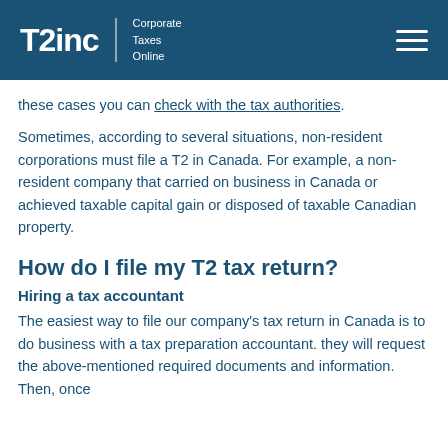T2inc | Corporate Taxes Online
these cases you can check with the tax authorities.
Sometimes, according to several situations, non-resident corporations must file a T2 in Canada. For example, a non-resident company that carried on business in Canada or achieved taxable capital gain or disposed of taxable Canadian property.
How do I file my T2 tax return?
Hiring a tax accountant
The easiest way to file our company's tax return in Canada is to do business with a tax preparation accountant. they will request the above-mentioned required documents and information. Then, once